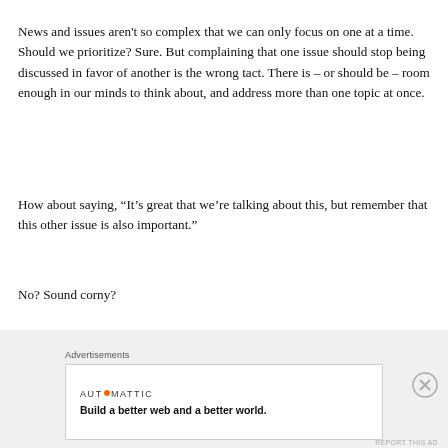News and issues aren't so complex that we can only focus on one at a time. Should we prioritize? Sure. But complaining that one issue should stop being discussed in favor of another is the wrong tact. There is – or should be – room enough in our minds to think about, and address more than one topic at once.
How about saying, “It’s great that we’re talking about this, but remember that this other issue is also important.”
No? Sound corny?
Well…
[Figure (other): Advertisement banner: Automattic logo with orange dot, tagline 'Build a better web and a better world.' with close button and report this ad link.]